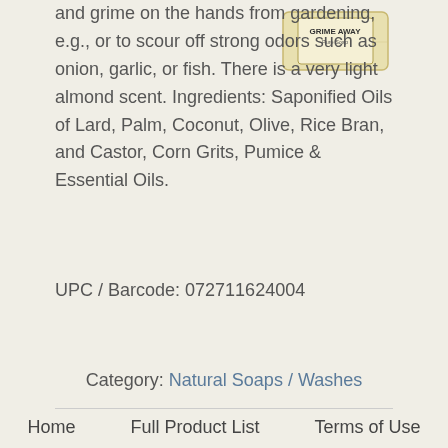and grime on the hands from gardening, e.g., or to scour off strong odors such as onion, garlic, or fish. There is a very light almond scent. Ingredients: Saponified Oils of Lard, Palm, Coconut, Olive, Rice Bran, and Castor, Corn Grits, Pumice & Essential Oils.
[Figure (photo): Photo of a bar of soap labeled GRIME AWAY Pure Soap]
UPC / Barcode: 072711624004
Category: Natural Soaps / Washes
Home    Full Product List    Terms of Use